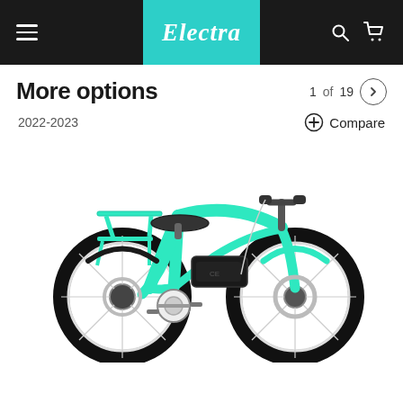Electra
More options
1 of 19
2022-2023
Compare
[Figure (photo): A turquoise/mint colored Electra electric cruiser bicycle with a rear rack, black saddle, disc brakes, and a black battery pack mounted on the frame, shown in profile view against a white background.]